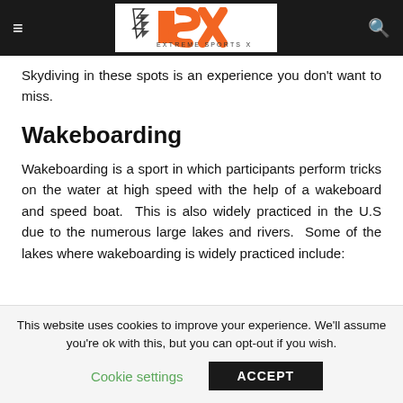ESX EXTREME SPORTS X
Skydiving in these spots is an experience you don't want to miss.
Wakeboarding
Wakeboarding is a sport in which participants perform tricks on the water at high speed with the help of a wakeboard and speed boat.  This is also widely practiced in the U.S due to the numerous large lakes and rivers.  Some of the lakes where wakeboarding is widely practiced include:
This website uses cookies to improve your experience. We'll assume you're ok with this, but you can opt-out if you wish.